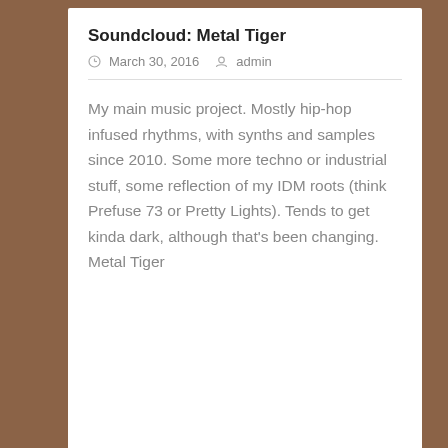Soundcloud: Metal Tiger
March 30, 2016  admin
My main music project. Mostly hip-hop infused rhythms, with synths and samples since 2010. Some more techno or industrial stuff, some reflection of my IDM roots (think Prefuse 73 or Pretty Lights). Tends to get kinda dark, although that's been changing. Metal Tiger
GitHub: loopist
March 30, 2016  admin
Loopist was a collaborative project with my brother John. We were aiming to a) teach me some Javascript in practice and b) utilize some of the music resources that never panned out from a